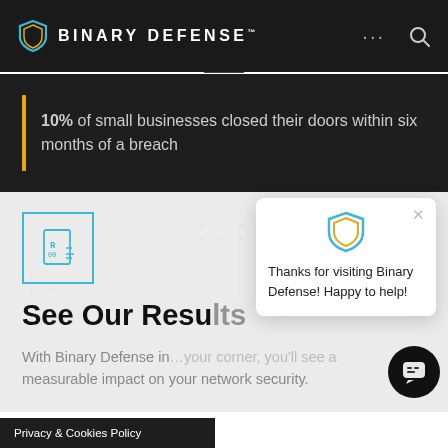BINARY DEFENSE
10% of small businesses closed their doors within six months of a breach
[Figure (illustration): Small icon showing a document with binary/code symbol inside a cyan square border]
See Our Resu
With Binary Defense in your corner, you'll see a measurable impact on your network security
[Figure (illustration): Chat popup with Binary Defense shield logo and message: Thanks for visiting Binary Defense! Happy to help!]
Privacy & Cookies Policy